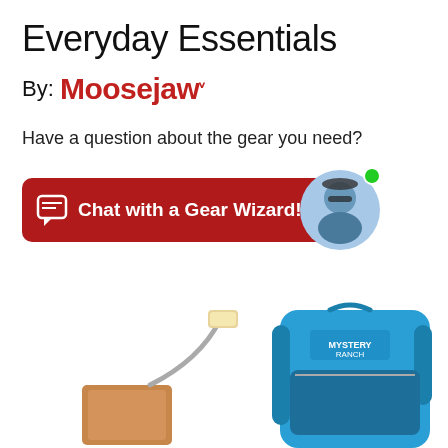Everyday Essentials
By: Moosejaw
Have a question about the gear you need?
[Figure (infographic): Red button/banner reading 'Chat with a Gear Wizard!' with a speech bubble icon and a circular avatar photo of a man wearing sunglasses outdoors, with a green online indicator dot]
[Figure (photo): A small USB-powered LED lamp with a flexible neck and an orange base device, and a blue Mystery Ranch backpack on the right side]